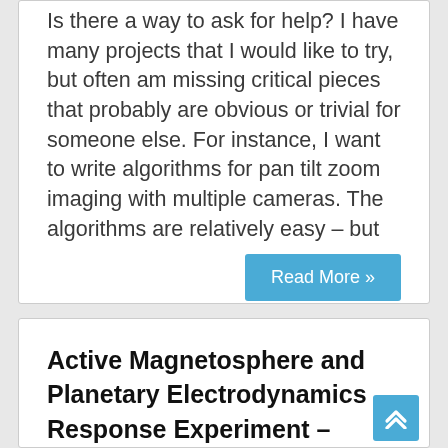Is there a way to ask for help? I have many projects that I would like to try, but often am missing critical pieces that probably are obvious or trivial for someone else. For instance, I want to write algorithms for pan tilt zoom imaging with multiple cameras. The algorithms are relatively easy – but
Read More »
Active Magnetosphere and Planetary Electrodynamics Response Experiment –